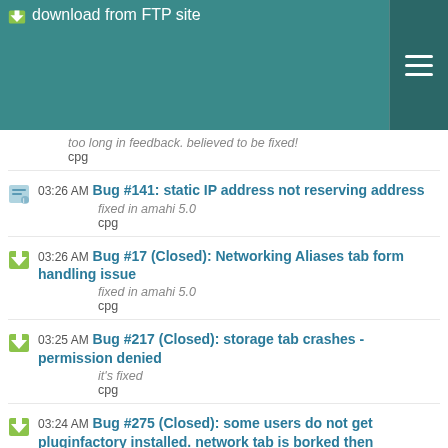download from FTP site
03:26 AM Bug #141: static IP address not reserving address
fixed in amahi 5.0
cpg
03:26 AM Bug #17 (Closed): Networking Aliases tab form handling issue
fixed in amahi 5.0
cpg
03:25 AM Bug #217 (Closed): storage tab crashes - permission denied
it's fixed
cpg
03:24 AM Bug #275 (Closed): some users do not get pluginfactory installed. network tab is borked then
this is believed to be fixed.
cpg
03:23 AM Bug #19 (Closed): Networking Alias tab allow blank alias name